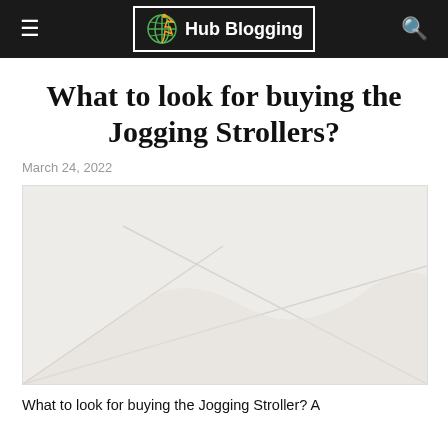Hub Blogging
What to look for buying the Jogging Strollers?
March 24, 2022
[Figure (photo): Featured image placeholder showing a light grey/beige background with faint stroller outline or abstract design]
What to look for buying the Jogging Stroller? A